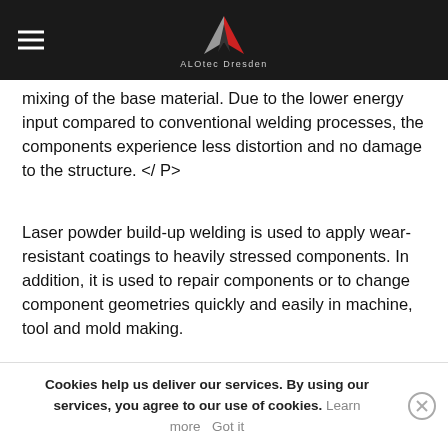ALOtec Dresden
mixing of the base material. Due to the lower energy input compared to conventional welding processes, the components experience less distortion and no damage to the structure. </P>
Laser powder build-up welding is used to apply wear-resistant coatings to heavily stressed components. In addition, it is used to repair components or to change component geometries quickly and easily in machine, tool and mold making.
Cookies help us deliver our services. By using our services, you agree to our use of cookies. Learn more Got it